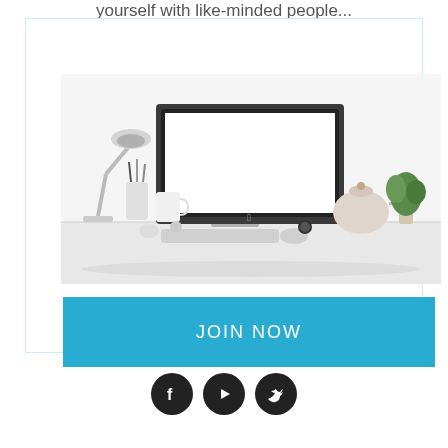yourself with like-minded people...
[Figure (photo): A modern desk setup with an iMac computer, desk lamp, pencil holder, teapot, small plant, and various desk accessories on a white surface]
JOIN NOW
[Figure (illustration): Three social media icons: Facebook, YouTube, and Twitter, each in a black circle]